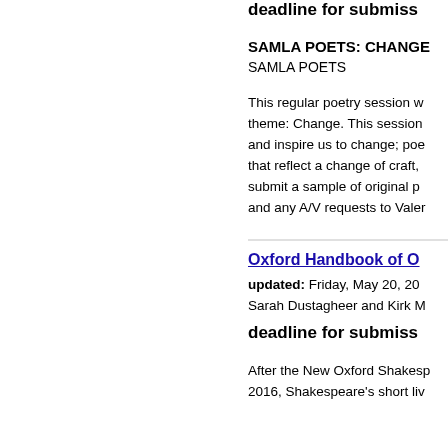deadline for submiss
SAMLA POETS: CHANGE
SAMLA POETS
This regular poetry session w... theme: Change. This session and inspire us to change; poe that reflect a change of craft, submit a sample of original p and any A/V requests to Valer
Oxford Handbook of O
updated: Friday, May 20, 20
Sarah Dustagheer and Kirk M
deadline for submiss
After the New Oxford Shakesp 2016, Shakespeare's short liv